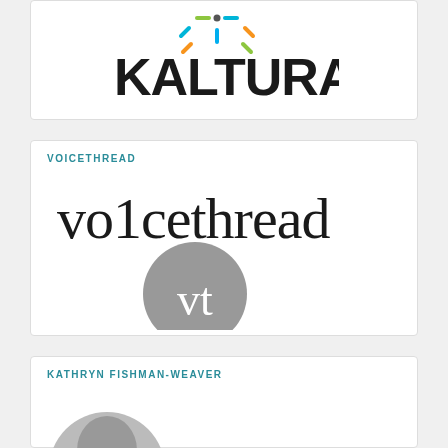[Figure (logo): Kaltura logo with colorful dot/spark icon above bold black KALTURA text]
[Figure (logo): VoiceThread logo: 'vo1cethread' text in serif font with gray circular 'vt' badge overlapping below, under teal VOICETHREAD label]
VOICETHREAD
KATHRYN FISHMAN-WEAVER
[Figure (photo): Partial circular black-and-white portrait photo of Kathryn Fishman-Weaver]